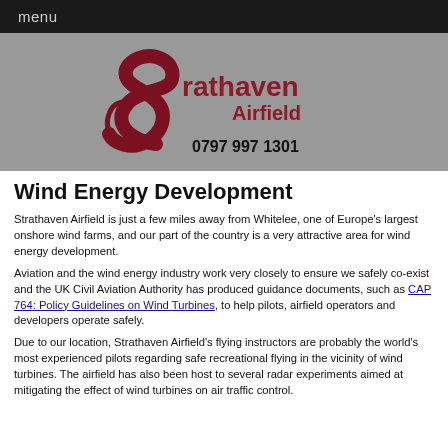menu
[Figure (logo): Strathaven Airfield logo with stylized dark red S shape and text 'strathaven Airfield' plus phone number '0797 997 1301']
Wind Energy Development
Strathaven Airfield is just a few miles away from Whitelee, one of Europe's largest onshore wind farms, and our part of the country is a very attractive area for wind energy development.
Aviation and the wind energy industry work very closely to ensure we safely co-exist and the UK Civil Aviation Authority has produced guidance documents, such as CAP 764: Policy Guidelines on Wind Turbines, to help pilots, airfield operators and developers operate safely.
Due to our location, Strathaven Airfield's flying instructors are probably the world's most experienced pilots regarding safe recreational flying in the vicinity of wind turbines. The airfield has also been host to several radar experiments aimed at mitigating the effect of wind turbines on air traffic control.